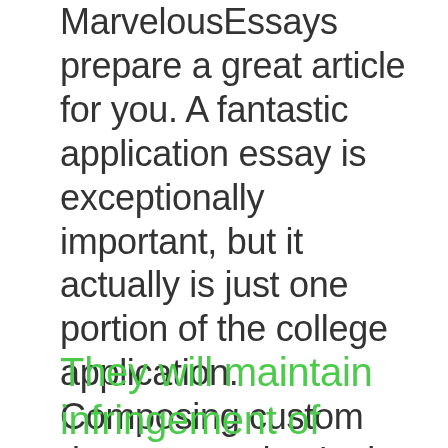MarvelousEssays prepare a great article for you. A fantastic application essay is exceptionally important, but it actually is just one portion of the college application. Composing custom documents, they're in their element. The many critical step within the class of writing a great essay is a proper matter.
They will maintain infringement of immigration law when